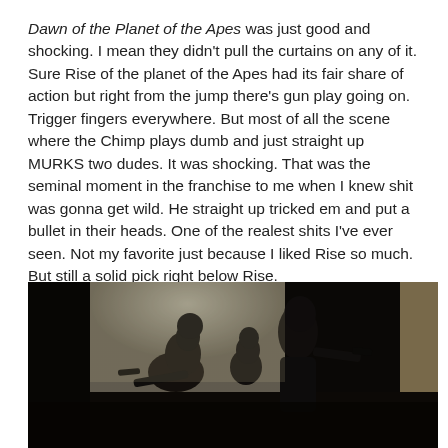Dawn of the Planet of the Apes was just good and shocking. I mean they didn't pull the curtains on any of it. Sure Rise of the planet of the Apes had its fair share of action but right from the jump there's gun play going on. Trigger fingers everywhere. But most of all the scene where the Chimp plays dumb and just straight up MURKS two dudes. It was shocking. That was the seminal moment in the franchise to me when I knew shit was gonna get wild. He straight up tricked em and put a bullet in their heads. One of the realest shits I've ever seen. Not my favorite just because I liked Rise so much. But still a solid pick right below Rise.
[Figure (photo): Dark silhouetted figures holding guns backlit by a bright doorway/window opening, appearing to be a scene from Dawn of the Planet of the Apes]